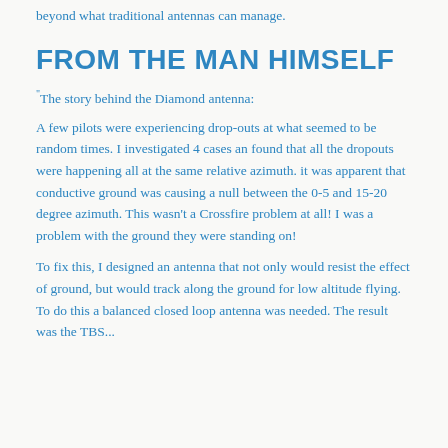beyond what traditional antennas can manage.
FROM THE MAN HIMSELF
“The story behind the Diamond antenna:
A few pilots were experiencing drop-outs at what seemed to be random times. I investigated 4 cases an found that all the dropouts were happening all at the same relative azimuth. it was apparent that conductive ground was causing a null between the 0-5 and 15-20 degree azimuth. This wasn’t a Crossfire problem at all! I was a problem with the ground they were standing on!
To fix this, I designed an antenna that not only would resist the effect of ground, but would track along the ground for low altitude flying. To do this a balanced closed loop antenna was needed. The result was the TBS...